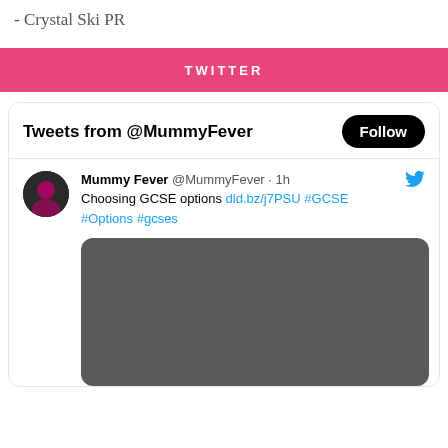- Crystal Ski PR
TWITTER
[Figure (screenshot): Twitter widget showing tweets from @MummyFever with a Follow button. One tweet visible: 'Mummy Fever @MummyFever · 1h — Choosing GCSE options dld.bz/j7PSU #GCSE #Options #gcses' with a dark gray image preview below.]